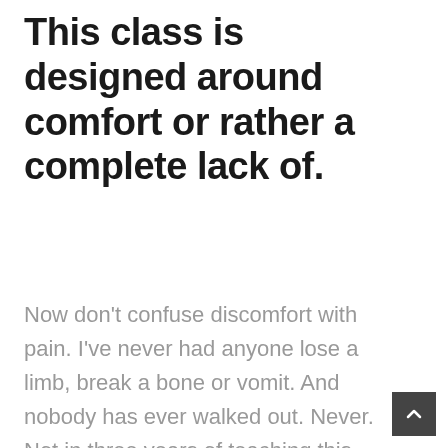This class is designed around comfort or rather a complete lack of.
Now don't confuse discomfort with pain. I've never had anyone lose a limb, break a bone or vomit. And nobody has ever walked out. Never. Not in three years of teaching this class